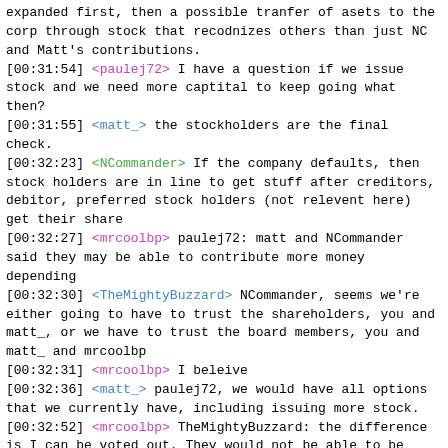expanded first, then a possible tranfer of asets to the corp through stock that recodnizes others than just NC and Matt's contributions.
[00:31:54] <paulej72> I have a question if we issue stock and we need more captital to keep going what then?
[00:31:55] <matt_> the stockholders are the final check.
[00:32:23] <NCommander> If the company defaults, then stock holders are in line to get stuff after creditors, debitor, preferred stock holders (not relevent here) get their share
[00:32:27] <mrcoolbp> paulej72: matt and NCommander said they may be able to contribute more money depending
[00:32:30] <TheMightyBuzzard> NCommander, seems we're either going to have to trust the shareholders, you and matt_, or we have to trust the board members, you and matt_ and mrcoolbp
[00:32:31] <mrcoolbp> I beleive
[00:32:36] <matt_> paulej72, we would have all options that we currently have, including issuing more stock.
[00:32:52] <mrcoolbp> TheMightyBuzzard: the difference is I can be voted out. They would not be able to be
[00:33:07] * mrcoolbp wants to stay on the island
[00:33:10] <mrcoolbp> = )
[00:33:13] <NCommander> TheMightyBuzzard: we can change the board to expand it, which is something that obvious should be done soonish, and move to involve the community as soon as possible